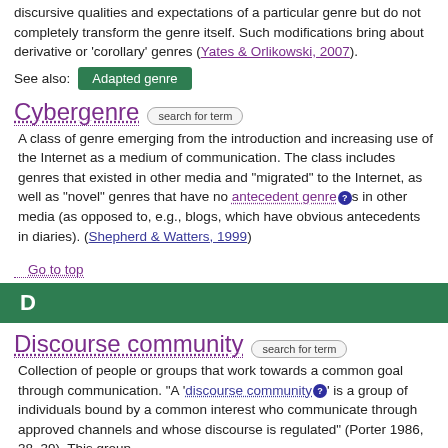discursive qualities and expectations of a particular genre but do not completely transform the genre itself. Such modifications bring about derivative or 'corollary' genres (Yates & Orlikowski, 2007).
See also: Adapted genre
Cybergenre
A class of genre emerging from the introduction and increasing use of the Internet as a medium of communication. The class includes genres that existed in other media and "migrated" to the Internet, as well as "novel" genres that have no antecedent genres in other media (as opposed to, e.g., blogs, which have obvious antecedents in diaries). (Shepherd & Watters, 1999)
Go to top
D
Discourse community
Collection of people or groups that work towards a common goal through communication. "A 'discourse community' is a group of individuals bound by a common interest who communicate through approved channels and whose discourse is regulated" (Porter 1986, 38–39). This group